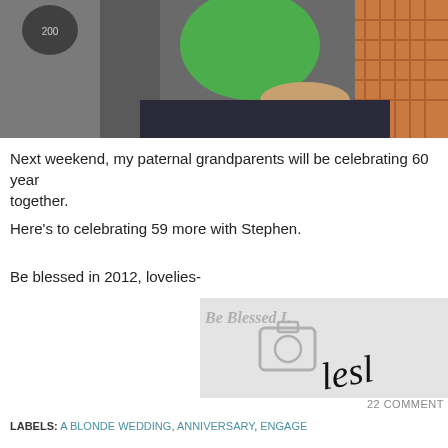[Figure (photo): Two elderly people sitting together, one wearing a green t-shirt and one wearing an orange plaid shirt, appearing to be inside a vehicle.]
Next weekend, my paternal grandparents will be celebrating 60 years together.
Here's to celebrating 59 more with Stephen.
Be blessed in 2012, lovelies-
[Figure (illustration): Watermark/signature image with cursive text 'Be Blessed L...' and a camera icon with handwritten signature 'lesli...']
22 COMMENTS
LABELS: A BLONDE WEDDING, ANNIVERSARY, ENGAGE...